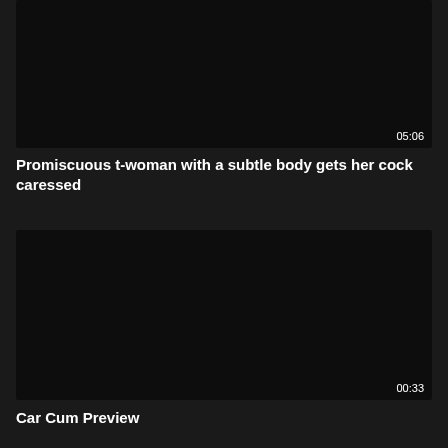[Figure (screenshot): Black video thumbnail with duration 05:06 shown in bottom-right corner]
Promiscuous t-woman with a subtle body gets her cock caressed
[Figure (screenshot): Black video thumbnail with duration 00:33 shown in bottom-right corner]
Car Cum Preview